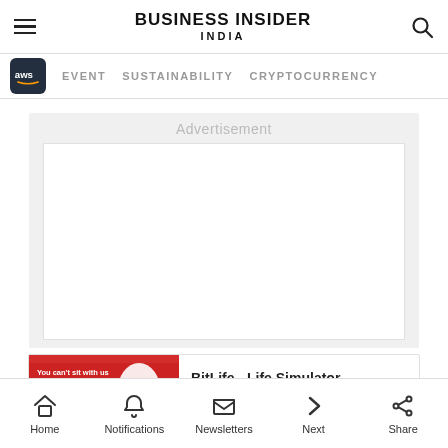BUSINESS INSIDER INDIA
EVENT  SUSTAINABILITY  CRYPTOCURRENCY
[Figure (screenshot): Advertisement placeholder area with gray background]
[Figure (screenshot): BitLife - Life Simulator app advertisement banner with red background and BitLife branding]
Home  Notifications  Newsletters  Next  Share